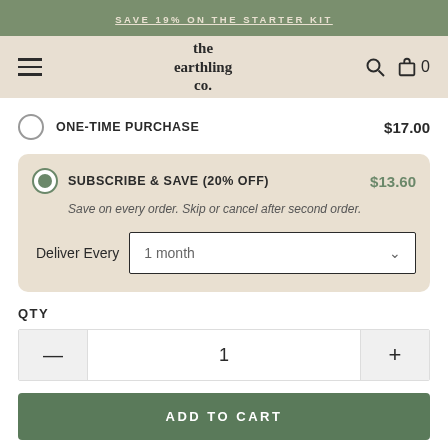SAVE 19% ON THE STARTER KIT
[Figure (logo): The Earthling Co. logo with hamburger menu, search and cart icons]
ONE-TIME PURCHASE   $17.00
SUBSCRIBE & SAVE (20% OFF)   $13.60
Save on every order. Skip or cancel after second order.
Deliver Every   1 month
QTY
1
ADD TO CART